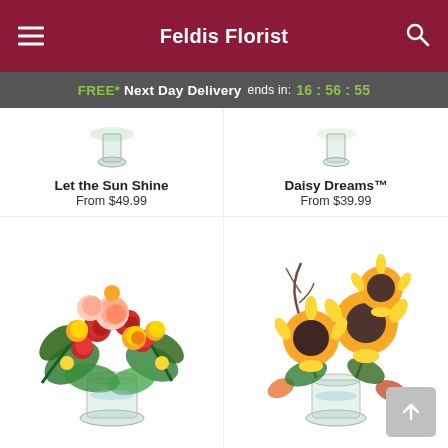Feldis Florist
FREE* Next Day Delivery ends in: 16 : 56 : 55
Let the Sun Shine
From $49.99
Daisy Dreams™
From $39.99
[Figure (photo): Bouquet of mixed roses (peach, red, yellow) with green foliage in a glass vase]
[Figure (photo): Bouquet of large sunflowers with decorative branches in a glass vase]